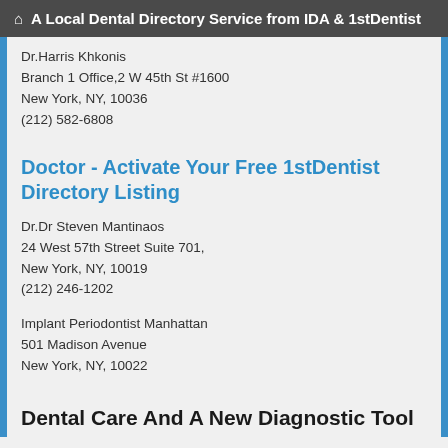A Local Dental Directory Service from IDA & 1stDentist
Dr.Harris Khkonis
Branch 1 Office,2 W 45th St #1600
New York, NY, 10036
(212) 582-6808
Doctor - Activate Your Free 1stDentist Directory Listing
Dr.Dr Steven Mantinaos
24 West 57th Street Suite 701,
New York, NY, 10019
(212) 246-1202
Implant Periodontist Manhattan
501 Madison Avenue
New York, NY, 10022
Dental Care And A New Diagnostic Tool For Mouth Cancer